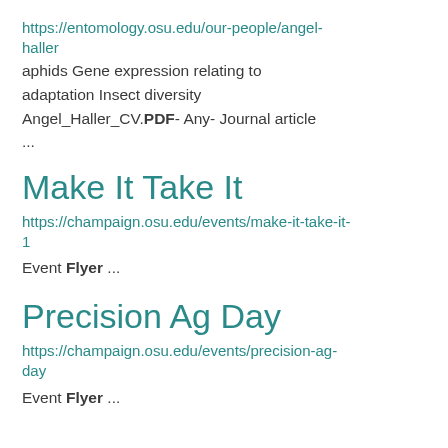https://entomology.osu.edu/our-people/angel-haller
aphids Gene expression relating to adaptation Insect diversity Angel_Haller_CV.PDF- Any- Journal article ...
Make It Take It
https://champaign.osu.edu/events/make-it-take-it-1
Event Flyer ...
Precision Ag Day
https://champaign.osu.edu/events/precision-ag-day
Event Flyer ...